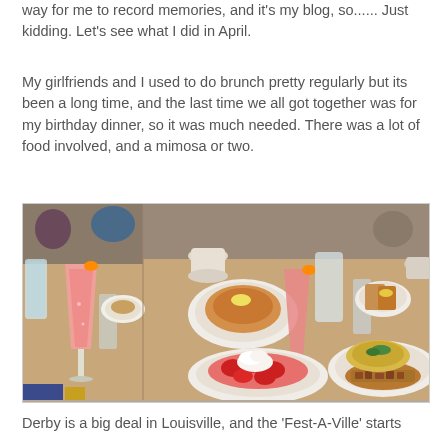way for me to record memories, and it's my blog, so...... Just kidding. Let's see what I did in April.
My girlfriends and I used to do brunch pretty regularly but its been a long time, and the last time we all got together was for my birthday dinner, so it was much needed. There was a lot of food involved, and a mimosa or two.
[Figure (photo): A brunch table spread with mimosas, pancakes with strawberries and whipped cream, a plate with an omelette and potatoes, French toast, coffee cups, water glasses, and pitchers arranged on a restaurant table.]
Derby is a big deal in Louisville, and the 'Fest-A-Ville' starts